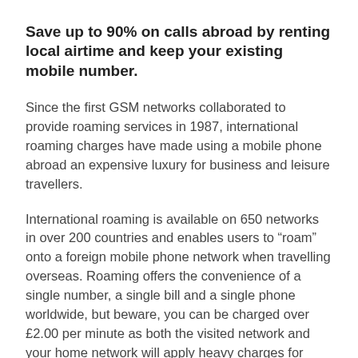Save up to 90% on calls abroad by renting local airtime and keep your existing mobile number.
Since the first GSM networks collaborated to provide roaming services in 1987, international roaming charges have made using a mobile phone abroad an expensive luxury for business and leisure travellers.
International roaming is available on 650 networks in over 200 countries and enables users to “roam” onto a foreign mobile phone network when travelling overseas. Roaming offers the convenience of a single number, a single bill and a single phone worldwide, but beware, you can be charged over £2.00 per minute as both the visited network and your home network will apply heavy charges for outgoing and incoming calls.